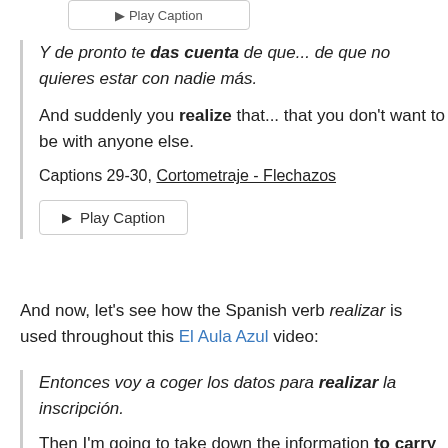[Figure (screenshot): A button/widget at the top of the page, partially visible, showing a rounded rectangle button.]
Y de pronto te das cuenta de que... de que no quieres estar con nadie más.
And suddenly you realize that... that you don't want to be with anyone else.
Captions 29-30, Cortometraje - Flechazos
[Figure (screenshot): Play Caption button with triangle play icon.]
And now, let's see how the Spanish verb realizar is used throughout this El Aula Azul video:
Entonces voy a coger los datos para realizar la inscripción.
Then I'm going to take down the information to carry out